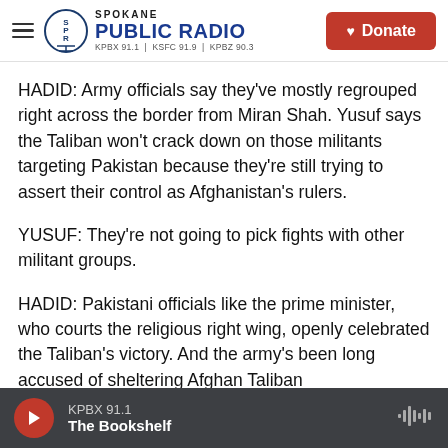Spokane Public Radio — KPBX 91.1 | KSFC 91.9 | KPBZ 90.3 | Donate
HADID: Army officials say they've mostly regrouped right across the border from Miran Shah. Yusuf says the Taliban won't crack down on those militants targeting Pakistan because they're still trying to assert their control as Afghanistan's rulers.
YUSUF: They're not going to pick fights with other militant groups.
HADID: Pakistani officials like the prime minister, who courts the religious right wing, openly celebrated the Taliban's victory. And the army's been long accused of sheltering Afghan Taliban
KPBX 91.1 | The Bookshelf